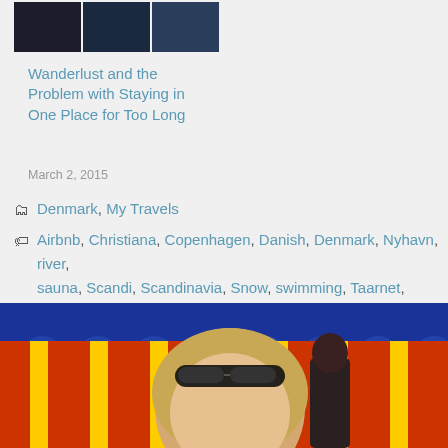[Figure (photo): Three nighttime/dusk city photos side by side showing what appears to be Tower Bridge London and riverside scenes]
Wanderlust and the Problem with Staying in One Place for Too Long
March 2, 2015
In "Great Britain"
Categories: Denmark, My Travels
Tags: Airbnb, Christiana, Copenhagen, Danish, Denmark, Nyhavn, river, sauna, Scandi, Scandinavia, Snow, swimming, Taarnet, tourism, Travel, weekend, winter
[Figure (photo): Bottom portion of page showing a woman with sunglasses on her head against a colorful fairground background with blue, red, yellow striped canopies]